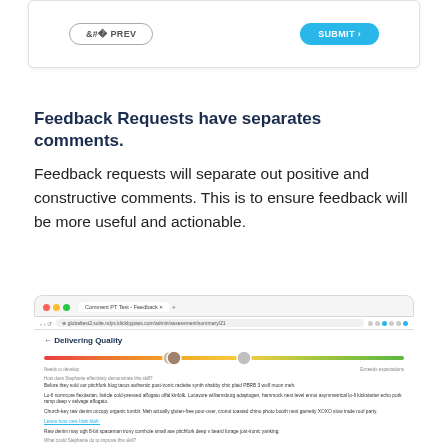[Figure (screenshot): Top navigation card with PREV and SUBMIT buttons]
Feedback Requests have separates comments.
Feedback requests will separate out positive and constructive comments. This is to ensure feedback will be more useful and actionable.
[Figure (screenshot): Browser screenshot showing a feedback page with 'Delivering Quality' header, a color gradient slider with two avatar markers, labels 'Needs to develop' and 'Exceeds expectations', and several feedback text blocks with a highlighted link.]